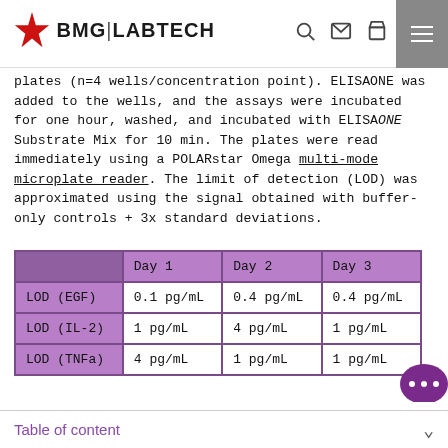BMG LABTECH
plates (n=4 wells/concentration point). ELISAONE was added to the wells, and the assays were incubated for one hour, washed, and incubated with ELISAONE Substrate Mix for 10 min. The plates were read immediately using a POLARstar Omega multi-mode microplate reader. The limit of detection (LOD) was approximated using the signal obtained with buffer-only controls + 3x standard deviations.
|  | Day 1 | Day 2 | Day 3 |
| --- | --- | --- | --- |
| LOD (EGF) | 0.1 pg/mL | 0.4 pg/mL | 0.4 pg/mL |
| LOD (IL-2) | 1 pg/mL | 4 pg/mL | 1 pg/mL |
| LOD (TNFa) | 4 pg/mL | 1 pg/mL | 1 pg/mL |
Table of content